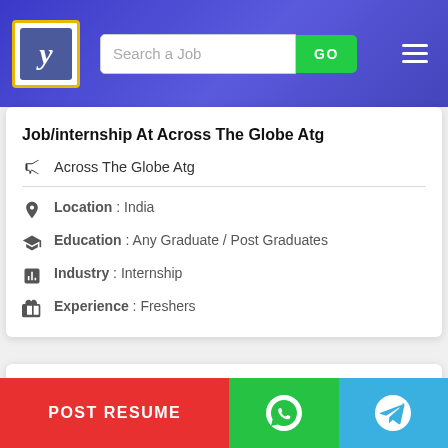Search a Job | GO
Job/internship At Across The Globe Atg
Across The Globe Atg
Location : India
Education : Any Graduate / Post Graduates
Industry : Internship
Experience : Freshers
Business Development Sales Internship In Hyderabad At Corp Security International
POST RESUME